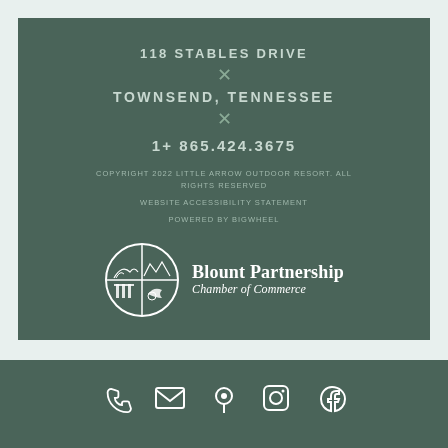118 STABLES DRIVE
TOWNSEND, TENNESSEE
1+ 865.424.3675
COPYRIGHT 2022 LITTLE ARROW OUTDOOR RESORT. ALL RIGHTS RESERVED
WEBSITE ACCESSIBILITY STATEMENT
POWERED BY BIGWHEEL
[Figure (logo): Blount Partnership Chamber of Commerce logo with circular emblem showing mountain and nature scenes divided into quadrants, with organization name beside it]
[Figure (infographic): Bottom bar with five social/contact icons: phone, email/envelope, location pin, Instagram, Facebook]